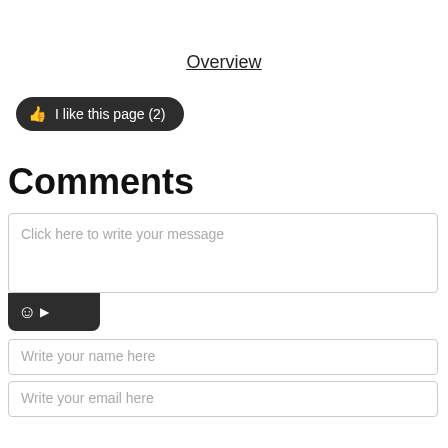Overview
I like this page (2)
Comments
Click here to write your message
Write your name here
Write your email here